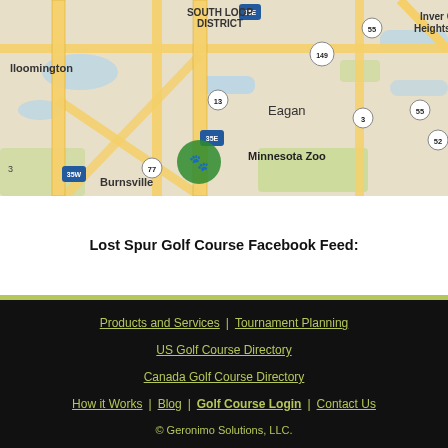[Figure (map): Google Maps view showing Eagan MN area including South Loop District, Bloomington, Burnsville, Inver Grove Heights, with highways 35E, 35W, 55, 77, 13, 3, 52, 149 and Minnesota Zoo marker]
Lost Spur Golf Course Facebook Feed:
Products and Services | Tournament Planning | US Golf Course Directory | Canada Golf Course Directory | How it Works | Blog | Golf Course Login | Contact Us | © Geronimo Solutions, LLC.